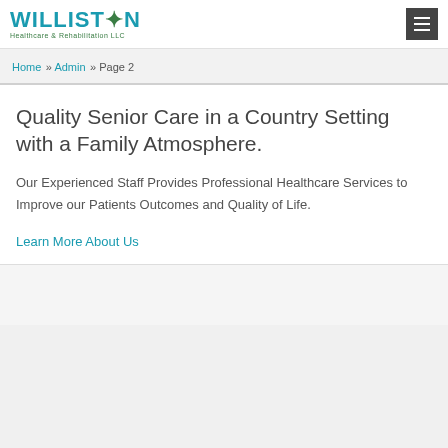WILLISTON Healthcare & Rehabilitation LLC
Home » Admin » Page 2
Quality Senior Care in a Country Setting with a Family Atmosphere.
Our Experienced Staff Provides Professional Healthcare Services to Improve our Patients Outcomes and Quality of Life.
Learn More About Us